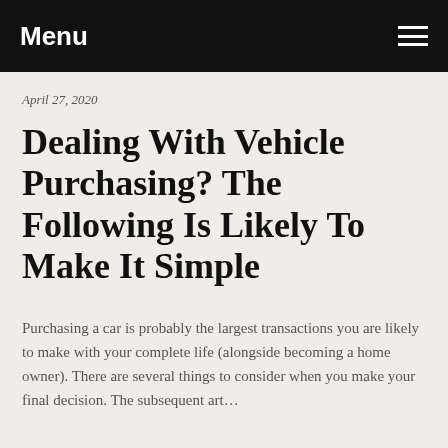Menu
April 27, 2020
Dealing With Vehicle Purchasing? The Following Is Likely To Make It Simple
Purchasing a car is probably the largest transactions you are likely to make with your complete life (alongside becoming a home owner). There are several things to consider when you make your final decision. The subsequent art…